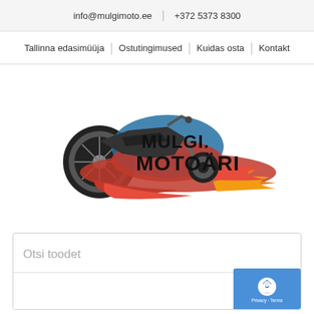info@mulgimoto.ee  |  +372 5373 8300
Tallinna edasimüüja | Ostutingimused | Kuidas osta | Kontakt
[Figure (logo): Mulgi Motoäri logo — motorcycle with flames and Estonian flag colors, text reads MULGI.MOTOÄRI]
Otsi toodet